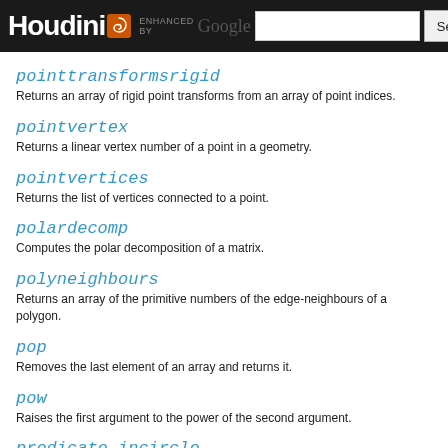Houdini | ENHANCED BY Google | Search
pointtransformsrigid
Returns an array of rigid point transforms from an array of point indices.
pointvertex
Returns a linear vertex number of a point in a geometry.
pointvertices
Returns the list of vertices connected to a point.
polardecomp
Computes the polar decomposition of a matrix.
polyneighbours
Returns an array of the primitive numbers of the edge-neighbours of a polygon.
pop
Removes the last element of an array and returns it.
pow
Raises the first argument to the power of the second argument.
predicate_incircle
Determines if a point is inside or outside a triangle circumcircle.
predicate_insphere